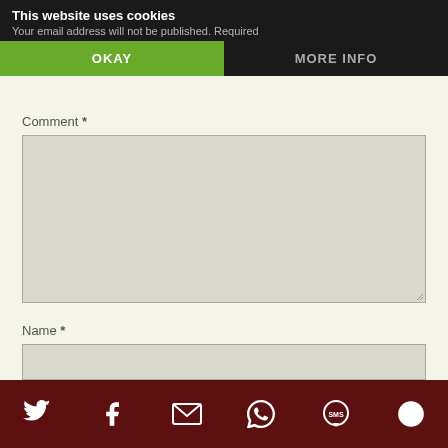This website uses cookies
Your email address will not be published. Required
OKAY
MORE INFO
Comment *
Name *
Email *
[Figure (infographic): Bottom navigation bar with social sharing icons: Twitter, Facebook, Email, WhatsApp, SMS, and a circular arrow/share icon, all white on dark red background]